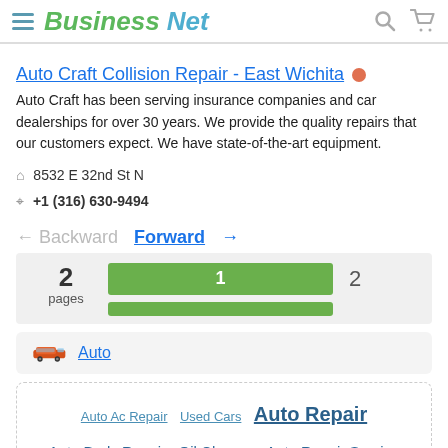Business Net
Auto Craft Collision Repair - East Wichita
Auto Craft has been serving insurance companies and car dealerships for over 30 years. We provide the quality repairs that our customers expect. We have state-of-the-art equipment.
8532 E 32nd St N
+1 (316) 630-9494
← Backward   Forward →
[Figure (infographic): Pagination widget showing 2 pages with green progress bars. Bar 1 is active (labeled '1'), bar 2 is unlabeled. A smaller green bar below indicates partial progress.]
Auto
Auto Ac Repair   Used Cars   Auto Repair   Auto Body Repair   Oil Change   Auto Repair Service   Collision & Auto Body Repair   Auto Service